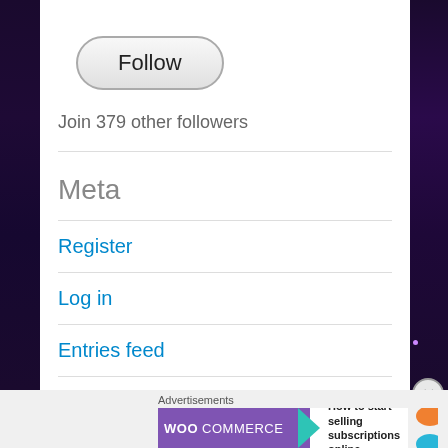[Figure (other): Follow button - rounded pill-shaped button with grey gradient background]
Join 379 other followers
Meta
Register
Log in
Entries feed
Advertisements
[Figure (other): WooCommerce advertisement banner: WooCommerce logo on purple background with green arrow, text 'How to start selling subscriptions online']